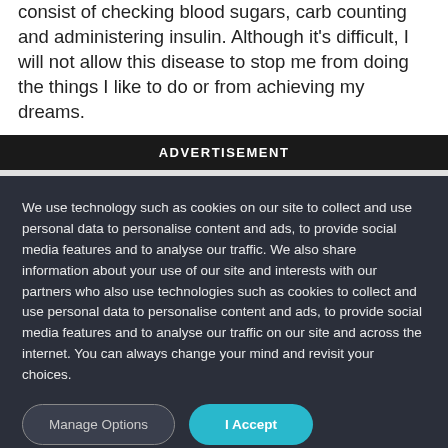consist of checking blood sugars, carb counting and administering insulin. Although it's difficult, I will not allow this disease to stop me from doing the things I like to do or from achieving my dreams.
ADVERTISEMENT
We use technology such as cookies on our site to collect and use personal data to personalise content and ads, to provide social media features and to analyse our traffic. We also share information about your use of our site and interests with our partners who also use technologies such as cookies to collect and use personal data to personalise content and ads, to provide social media features and to analyse our traffic on our site and across the internet. You can always change your mind and revisit your choices.